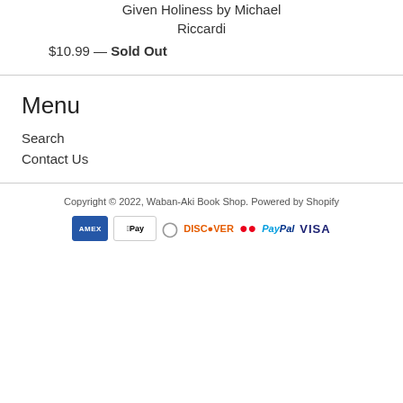Given Holiness by Michael Riccardi
$10.99 — Sold Out
Menu
Search
Contact Us
Copyright © 2022, Waban-Aki Book Shop. Powered by Shopify
[Figure (other): Payment method icons: American Express, Apple Pay, Diners, Discover, Mastercard, PayPal, Visa]